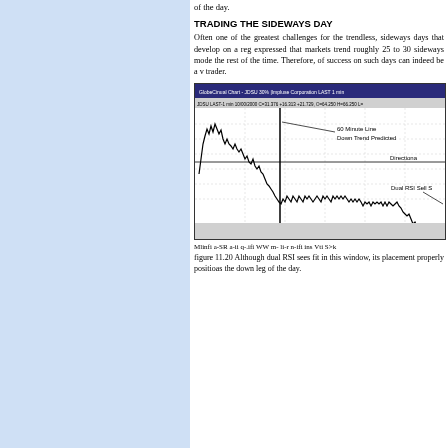of the day.
TRADING THE SIDEWAYS DAY
Often one of the greatest challenges for the trendless, sideways days that develop on a reg expressed that markets trend roughly 25 to 30 sideways mode the rest of the time. Therefore, of success on such days can indeed be a v trader.
[Figure (continuous-plot): A 1-minute intraday stock chart (JDSU) showing a sharp downtrend with annotations for '60 Minute Line', 'Down Trend Predicted', 'Directional' and 'Dual RSI Sell S' labels.]
Mlinfi a-SR a-ii q-.ifi WW m- li-r n-ifi ins Vti S>k
figure 11.20 Although dual RSI sees fit in this window, its placement properly positioas the down leg of the day.